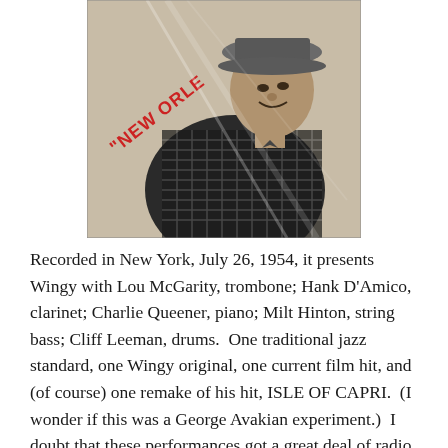[Figure (photo): A vinyl record album cover showing a man in a checkered jacket and hat, with red diagonal text reading 'NEW ORLEANS', wrapped in plastic shrink wrap. The photo is black and white, set against a light beige background.]
Recorded in New York, July 26, 1954, it presents Wingy with Lou McGarity, trombone; Hank D'Amico, clarinet; Charlie Queener, piano; Milt Hinton, string bass; Cliff Leeman, drums.  One traditional jazz standard, one Wingy original, one current film hit, and (of course) one remake of his hit, ISLE OF CAPRI.  (I wonder if this was a George Avakian experiment.)  I doubt that these performances got a great deal of radio airplay, and Columbia didn't record